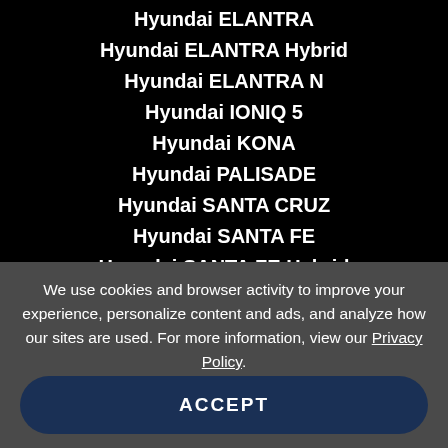Hyundai ELANTRA
Hyundai ELANTRA Hybrid
Hyundai ELANTRA N
Hyundai IONIQ 5
Hyundai KONA
Hyundai PALISADE
Hyundai SANTA CRUZ
Hyundai SANTA FE
Hyundai SANTA FE Hybrid
Hyundai SONATA
Hyundai SONATA Hybrid
We use cookies and browser activity to improve your experience, personalize content and ads, and analyze how our sites are used. For more information, view our Privacy Policy.
ACCEPT